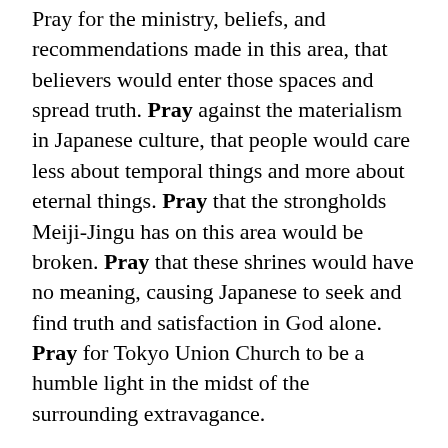Pray for the ministry, beliefs, and recommendations made in this area, that believers would enter those spaces and spread truth. Pray against the materialism in Japanese culture, that people would care less about temporal things and more about eternal things. Pray that the strongholds Meiji-Jingu has on this area would be broken. Pray that these shrines would have no meaning, causing Japanese to seek and find truth and satisfaction in God alone. Pray for Tokyo Union Church to be a humble light in the midst of the surrounding extravagance.
20 SHIBUYA 渋谷
Shibuya is known as one of the fashion centers of Japan and is a major nightlife area with many different